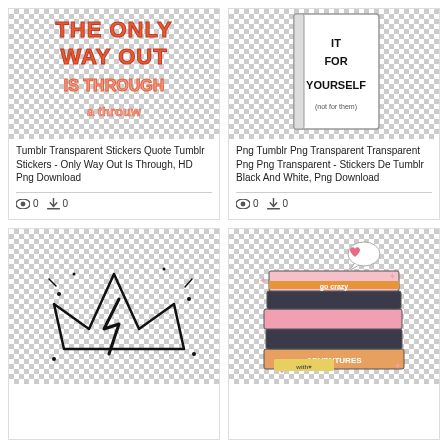[Figure (illustration): Tumblr sticker with orange bold text reading THE ONLY WAY OUT IS THROUGH on a checkered transparent background]
Tumblr Transparent Stickers Quote Tumblr Stickers - Only Way Out Is Through, HD Png Download
0  0
[Figure (illustration): A book with text DO IT FOR YOURSELF (not for them) on a checkered transparent background]
Png Tumblr Png Transparent Transparent Png Png Transparent - Stickers De Tumblr Black And White, Png Download
0  0
[Figure (illustration): Black and white hand-drawn crown with lightning bolt on checkered transparent background]
[Figure (illustration): Illustrated stack of pink and dark books with sparkles and a heart speech bubble on checkered transparent background]